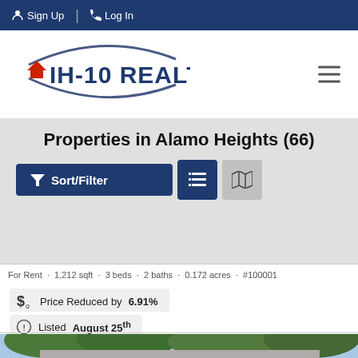Sign Up | Log In
[Figure (logo): IH-10 Realty logo with swoosh arc and red house icon]
Properties in Alamo Heights (66)
Sort/Filter button with list and map view toggle icons
For Rent · 1,212 sqft · 3 beds · 2 baths · 0.172 acres · #100001
Price Reduced by 6.91%
Listed August 25th
[Figure (photo): Exterior photo of a single-story house with trees and green shutters]